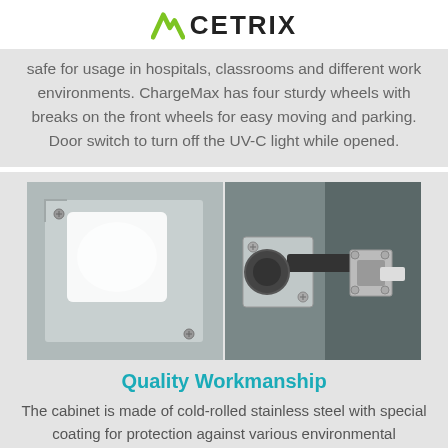CETRIX
safe for usage in hospitals, classrooms and different work environments. ChargeMax has four sturdy wheels with breaks on the front wheels for easy moving and parking. Door switch to turn off the UV-C light while opened.
[Figure (photo): Two side-by-side close-up photos: left shows a metallic panel with a white frosted glass window and screws; right shows a metal cabinet hinge mechanism.]
Quality Workmanship
The cabinet is made of cold-rolled stainless steel with special coating for protection against various environmental conditions. All parts, joints, welds, and